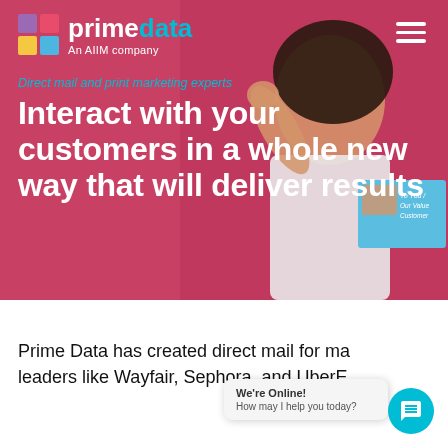[Figure (screenshot): Prime Data website hero section with a woman celebrating, holding a direct mail piece. Pink/red background.]
Interact with your customers in a whole new way that will deliver results
Prime Data has created direct mail for market leaders like Wayfair, Sephora, and UberEats